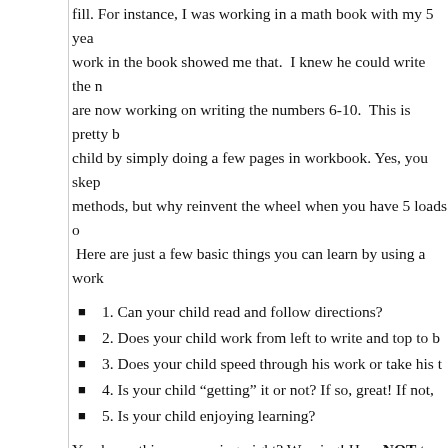fill. For instance, I was working in a math book with my 5 yea work in the book showed me that.  I knew he could write the n are now working on writing the numbers 6-10.  This is pretty b child by simply doing a few pages in workbook. Yes, you skep methods, but why reinvent the wheel when you have 5 loads o  Here are just a few basic things you can learn by using a work
1. Can your child read and follow directions?
2. Does your child work from left to write and top to b
3. Does your child speed through his work or take his t
4. Is your child “getting” it or not? If so, great! If not,
5. Is your child enjoying learning?
You knew this was coming, right? Warning! How NOT to use a pencil and a workbook and leave the room. Big mistake!  First especially if he or she is not yet a reader. Secondly, chances are denying that your child is a genius, but even the “smartest” kid what? Either you have to have your child redo it- can you say f